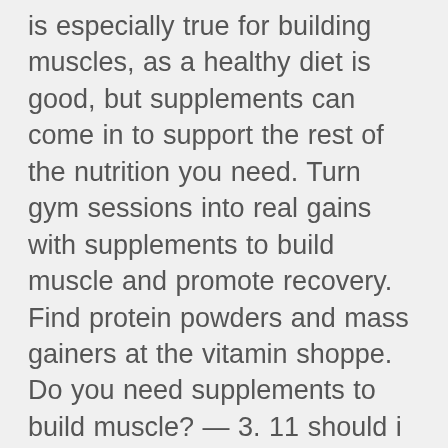is especially true for building muscles, as a healthy diet is good, but supplements can come in to support the rest of the nutrition you need. Turn gym sessions into real gains with supplements to build muscle and promote recovery. Find protein powders and mass gainers at the vitamin shoppe. Do you need supplements to build muscle? — 3. 11 should i eat 30g of protein per meal max? 3. 12 do you need supplements to build. Protein supplements · creatine · weight gainers · bcaa · testosterone boosters · nitric oxide. "usn purefit pro recover 1kg, van milk". Albumax nutritional supplement 250g. Price